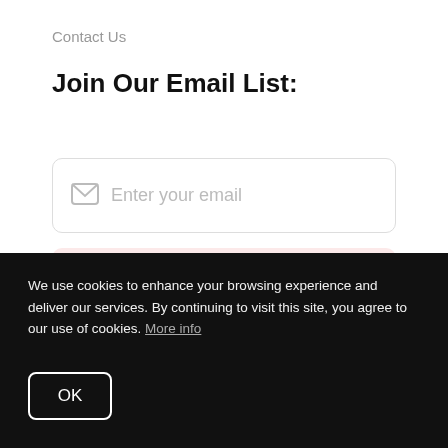Contact Us
Join Our Email List:
Enter your email
Subscribe
We respect your inbox. We only send interesting and relevant emails.
We use cookies to enhance your browsing experience and deliver our services. By continuing to visit this site, you agree to our use of cookies. More info
OK